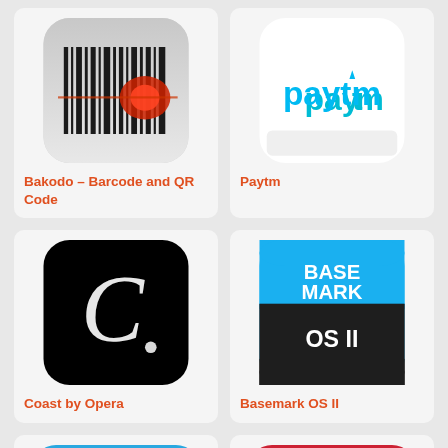[Figure (screenshot): Bakodo barcode scanner app icon - gray background with black barcode and red laser scan effect]
Bakodo – Barcode and QR Code
[Figure (screenshot): Paytm app icon - white background with Paytm logo in blue text]
Paytm
[Figure (screenshot): Coast by Opera app icon - black background with white stylized C letter]
Coast by Opera
[Figure (screenshot): Basemark OS II app icon - blue top half with BASE MARK text, black bottom half with OS II text]
Basemark OS II
[Figure (screenshot): Partial app icon - blue background with WiFi/signal icon, cut off at bottom]
[Figure (screenshot): Partial app icon - red background with white vertical bars logo, cut off at bottom]